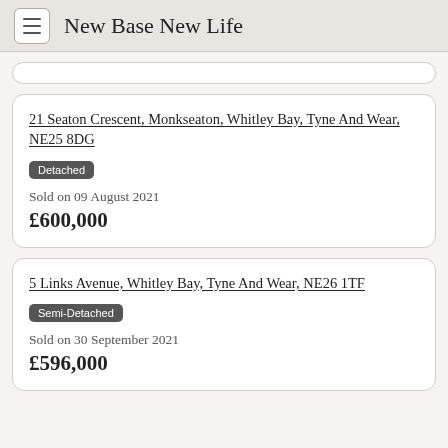New Base New Life
21 Seaton Crescent, Monkseaton, Whitley Bay, Tyne And Wear, NE25 8DG
Detached
Sold on 09 August 2021
£600,000
5 Links Avenue, Whitley Bay, Tyne And Wear, NE26 1TF
Semi-Detached
Sold on 30 September 2021
£596,000